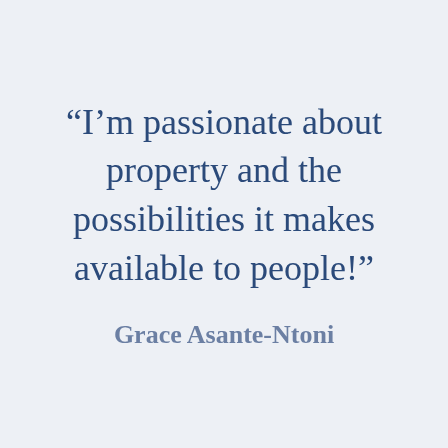“I’m passionate about property and the possibilities it makes available to people!”
Grace Asante-Ntoni